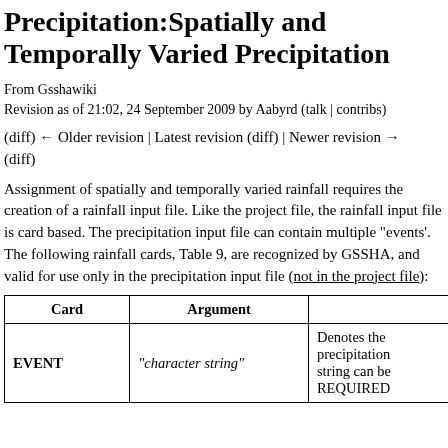Precipitation:Spatially and Temporally Varied Precipitation
From Gsshawiki
Revision as of 21:02, 24 September 2009 by Aabyrd (talk | contribs)
(diff) ← Older revision | Latest revision (diff) | Newer revision → (diff)
Assignment of spatially and temporally varied rainfall requires the creation of a rainfall input file. Like the project file, the rainfall input file is card based. The precipitation input file can contain multiple "events'. The following rainfall cards, Table 9, are recognized by GSSHA, and valid for use only in the precipitation input file (not in the project file):
| Card | Argument |  |
| --- | --- | --- |
| EVENT | "character string" | Denotes the precipitation string can be REQUIRED |